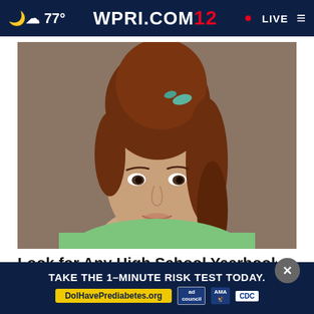77° WPRI.COM 12 • LIVE
[Figure (photo): Vintage yearbook-style portrait photo of a young woman with a tall bouffant/beehive hairstyle with a small bow, wearing a light green sweater, against a brownish-gray background.]
Look for Any High School Yearbook, It's Fr
Class...
TAKE THE 1-MINUTE RISK TEST TODAY. DolHavePrediabetes.org